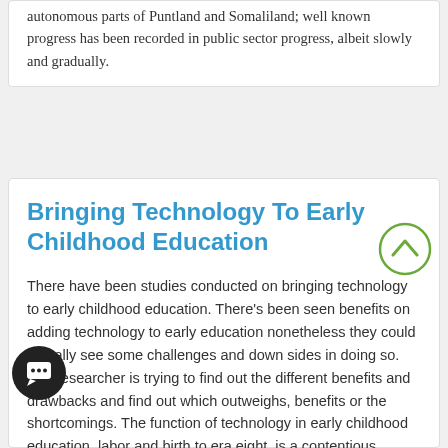autonomous parts of Puntland and Somaliland; well known progress has been recorded in public sector progress, albeit slowly and gradually.
Bringing Technology To Early Childhood Education
There have been studies conducted on bringing technology to early childhood education. There's been seen benefits on adding technology to early education nonetheless they could actually see some challenges and down sides in doing so. The researcher is trying to find out the different benefits and drawbacks and find out which outweighs, benefits or the shortcomings. The function of technology in early childhood education, labor and birth to era eight, is a contentious subject. Parents and educators are divided regarding possible benefits or problems to young children. Critics argue that technology in colleges wastes time, money, and youth itself by obtaining a go forward the rate and cutting down on